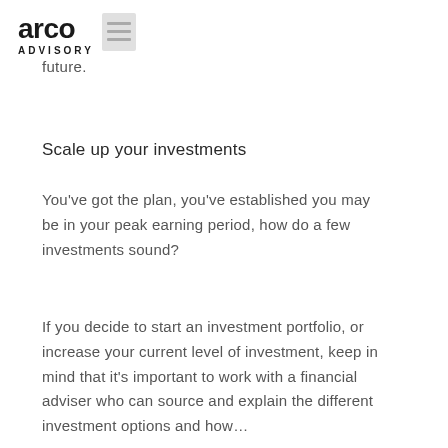arco ADVISORY
future.
Scale up your investments
You've got the plan, you've established you may be in your peak earning period, how do a few investments sound?
If you decide to start an investment portfolio, or increase your current level of investment, keep in mind that it's important to work with a financial adviser who can source and explain the different investment options and how...